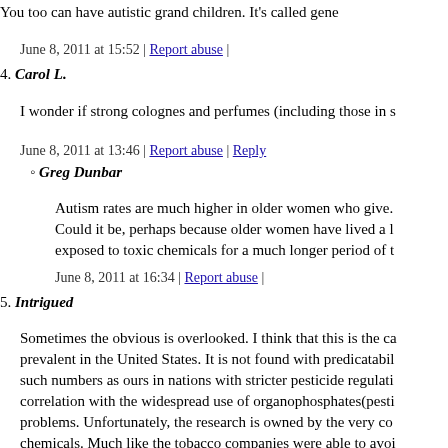You too can have autistic grand children. It's called gene
June 8, 2011 at 15:52 | Report abuse |
4. Carol L.
I wonder if strong colognes and perfumes (including those in s
June 8, 2011 at 13:46 | Report abuse | Reply
Greg Dunbar
Autism rates are much higher in older women who give. Could it be, perhaps because older women have lived a l exposed to toxic chemicals for a much longer period of t
June 8, 2011 at 16:34 | Report abuse |
5. Intrigued
Sometimes the obvious is overlooked. I think that this is the ca prevalent in the United States. It is not found with predicatabil such numbers as ours in nations with stricter pesticide regulati correlation with the widespread use of organophosphates(pesti problems. Unfortunately, the research is owned by the very co chemicals. Much like the tobacco companies were able to avoi companies own the data. Unless we as a nation insist on safe f costs will continue to grow exponentially.